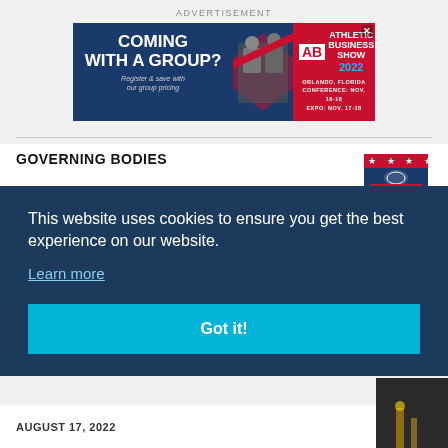ADVERTISEMENT
[Figure (infographic): Athletic Business Show 2022 advertisement banner. Dark blue left side with text 'COMING WITH A GROUP? Register & save with our group pricing'. Center shows a photo of conference attendees. Right red side shows AB Athletic Business Show 2022 logo with 'ORLANDO, FLORIDA CONFERENCE: NOV. 16-18 EXPO: NOV. 17-18']
GOVERNING BODIES
[Figure (logo): NFL shield logo with stars and football]
This website uses cookies to ensure you get the best experience on our website.
Learn more
Got it!
AUGUST 17, 2022